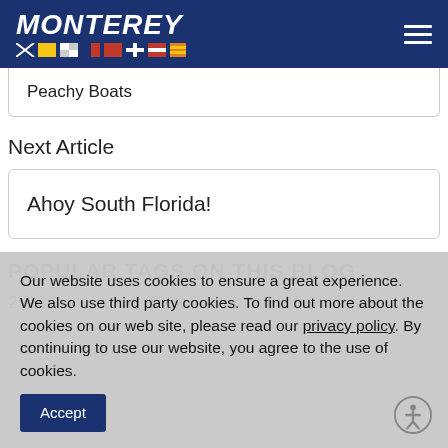[Figure (logo): Monterey Boats logo with italic bold white text on dark blue background, with nautical signal flags below the text, and hamburger menu icon on right]
Peachy Boats
Next Article
Ahoy South Florida!
POPULAR TAGS ON THIS BLOG
255SS | Award | Best Boat | Boat Manufacturer |
Our website uses cookies to ensure a great experience. We also use third party cookies. To find out more about the cookies on our web site, please read our privacy policy. By continuing to use our website, you agree to the use of cookies.
Accept